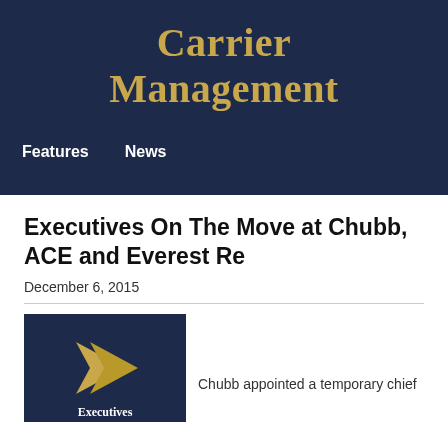Carrier Management
Features   News
Executives On The Move at Chubb, ACE and Everest Re
December 6, 2015
[Figure (illustration): Dark navy blue thumbnail image with a gold chevron/arrow pointing right in the center and the word 'Executives' at the bottom in white bold text.]
Chubb appointed a temporary chief